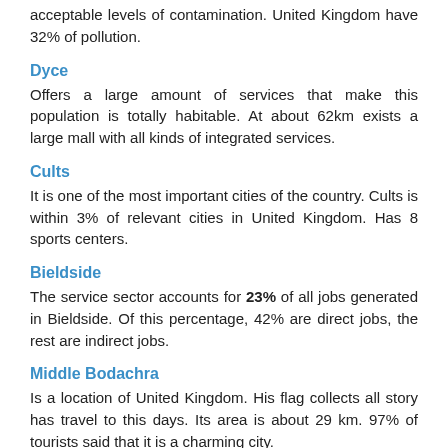acceptable levels of contamination. United Kingdom have 32% of pollution.
Dyce
Offers a large amount of services that make this population is totally habitable. At about 62km exists a large mall with all kinds of integrated services.
Cults
It is one of the most important cities of the country. Cults is within 3% of relevant cities in United Kingdom. Has 8 sports centers.
Bieldside
The service sector accounts for 23% of all jobs generated in Bieldside. Of this percentage, 42% are direct jobs, the rest are indirect jobs.
Middle Bodachra
Is a location of United Kingdom. His flag collects all story has travel to this days. Its area is about 29 km. 97% of tourists said that it is a charming city.